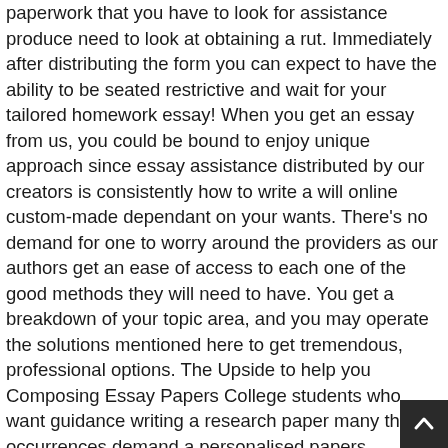paperwork that you have to look for assistance produce need to look at obtaining a rut. Immediately after distributing the form you can expect to have the ability to be seated restrictive and wait for your tailored homework essay! When you get an essay from us, you could be bound to enjoy unique approach since essay assistance distributed by our creators is consistently how to write a will online custom-made dependant on your wants. There's no demand for one to worry around the providers as our authors get an ease of access to each one of the good methods they will need to have. You get a breakdown of your topic area, and you may operate the solutions mentioned here to get tremendous, professional options. The Upside to help you Composing Essay Papers College students who want guidance writing a research paper many the occurrences demand a personalised papers performed as reported by their information. Our writers can write your whole news paper or you could be sure to ask us to handle a number of sec